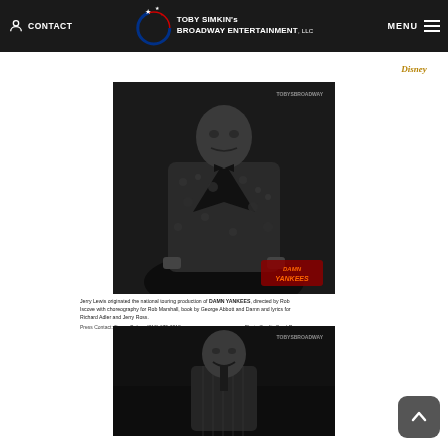CONTACT | TOBY SIMKIN's BROADWAY ENTERTAINMENT, LLC | MENU
[Figure (photo): Black and white photo of Jerry Lewis in a leopard-print jacket performing in Damn Yankees, with a 'Damn Yankees' logo overlay in the bottom right corner and a watermark reading 'TOBYSBROADWAY' in the top right.]
Jerry Lewis originated the national touring production of DAMN YANKEES, directed by Rob Iscove with choreography by Rob Marshall, book by George Abbott and Damn and lyrics for Richard Adler and Jerry Ross.
Press Contact: Donna Bulsco (713) 179-3218    Photo Credit: Carol Rosegg
[Figure (photo): Black and white photo of a performer (Jerry Lewis) smiling on stage in a pinstripe suit, with watermark 'TOBYSBROADWAY' in upper right corner.]